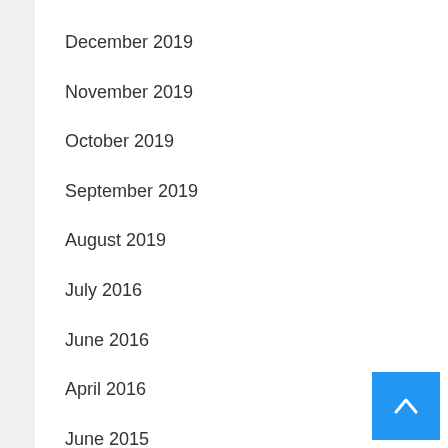December 2019
November 2019
October 2019
September 2019
August 2019
July 2016
June 2016
April 2016
June 2015
February 2015